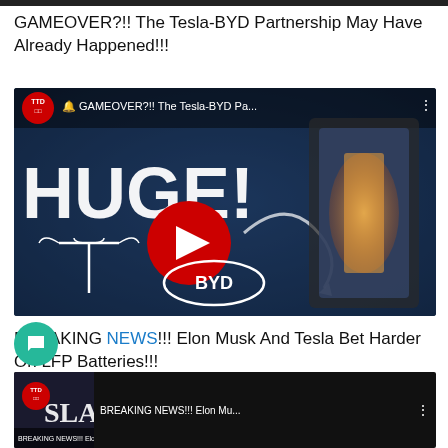GAMEOVER?!! The Tesla-BYD Partnership May Have Already Happened!!!
[Figure (screenshot): YouTube video thumbnail showing 'GAMEOVER?!! The Tesla-BYD Pa...' with Tesla and BYD logos, HUGE! text, a battery device, and a YouTube play button in the center]
BREAKING NEWS!!! Elon Musk And Tesla Bet Harder On LFP Batteries!!!
[Figure (screenshot): Partial YouTube video thumbnail at bottom showing 'BREAKING NEWS!!! Elon Mu...' with TTD logo]